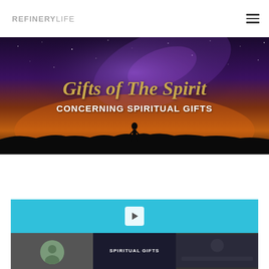REFINERYLIFE
[Figure (photo): Night sky hero banner with galaxy and silhouette of a person standing on a hill. Text overlaid: 'Gifts of The Spirit' and 'CONCERNING SPIRITUAL GIFTS']
Gifts of The Spirit
CONCERNING SPIRITUAL GIFTS
Back to series
[Figure (screenshot): Video player embed showing a blue top area with a play button, and below it a video thumbnail with text 'SPIRITUAL GIFTS']